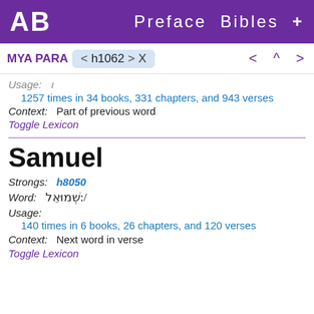AB   Preface  Bibles  +
MYA PARA  < h1062 >  X        <  ^  >
Usage:
1257 times in 34 books, 331 chapters, and 943 verses
Context:   Part of previous word
Toggle Lexicon
Samuel
Strongs:   h8050
Word:   שְׁמוּאֵל:/
Usage:
140 times in 6 books, 26 chapters, and 120 verses
Context:   Next word in verse
Toggle Lexicon